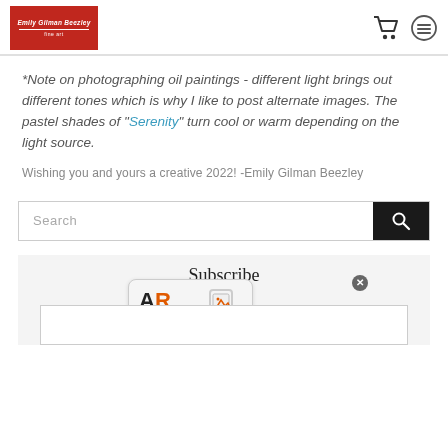Emily Gilman Beezley
*Note on photographing oil paintings - different light brings out different tones which is why I like to post alternate images. The pastel shades of "Serenity" turn cool or warm depending on the light source.
Wishing you and yours a creative 2022! -Emily Gilman Beezley
Search
Subscribe
[Figure (logo): AR Compatible badge/logo overlay with close button]